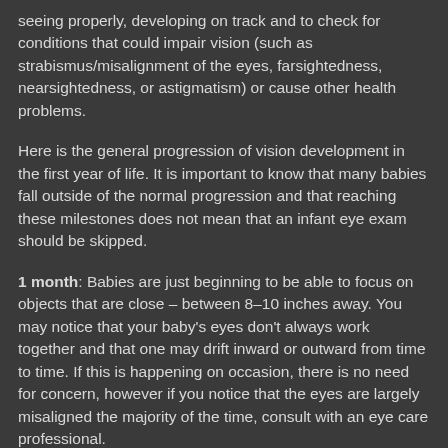seeing properly, developing on track and to check for conditions that could impair vision (such as strabismus/misalignment of the eyes, farsightedness, nearsightedness, or astigmatism) or cause other health problems.
Here is the general progression of vision development in the first year of life. It is important to know that many babies fall outside of the normal progression and that reaching these milestones does not mean that an infant eye exam should be skipped.
1 month: Babies are just beginning to be able to focus on objects that are close – between 8–10 inches away. You may notice that your baby's eyes don't always work together and that one may drift inward or outward from time to time. If this is happening on occasion, there is no need for concern, however if you notice that the eyes are largely misaligned the majority of the time, consult with an eye care professional.
2–3 months: Babies will begin to follow objects and...